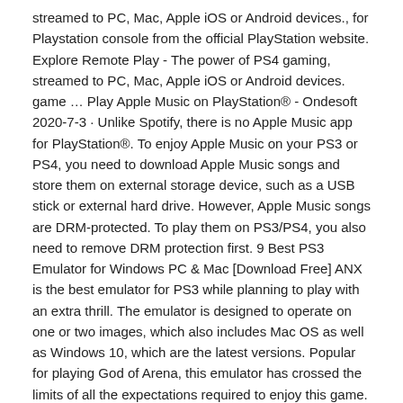streamed to PC, Mac, Apple iOS or Android devices., for Playstation console from the official PlayStation website. Explore Remote Play - The power of PS4 gaming, streamed to PC, Mac, Apple iOS or Android devices. game … Play Apple Music on PlayStation® - Ondesoft 2020-7-3 · Unlike Spotify, there is no Apple Music app for PlayStation®. To enjoy Apple Music on your PS3 or PS4, you need to download Apple Music songs and store them on external storage device, such as a USB stick or external hard drive. However, Apple Music songs are DRM-protected. To play them on PS3/PS4, you also need to remove DRM protection first. 9 Best PS3 Emulator for Windows PC & Mac [Download Free] ANX is the best emulator for PS3 while planning to play with an extra thrill. The emulator is designed to operate on one or two images, which also includes Mac OS as well as Windows 10, which are the latest versions. Popular for playing God of Arena, this emulator has crossed the limits of all the expectations required to enjoy this game.